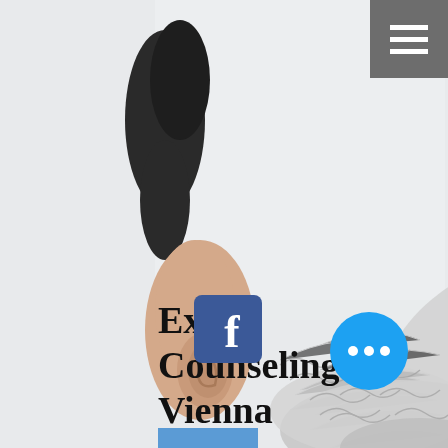[Figure (photo): Website screenshot of Expat Counseling Vienna. Shows close-up of a person's ear and side profile (dark hair on left, grey/white hair on right lower portion). Light grey background. Hamburger menu icon top-right in grey square. Title text 'Expat Counseling Vienna' in bold black bottom-left area. Facebook icon and blue circle with dots in lower section.]
Expat Counseling Vienna